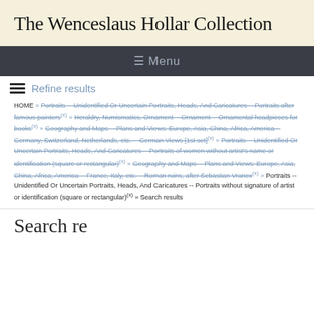The Wenceslaus Hollar Collection
≡ Menu
Refine results
HOME » Portraits -- Unidentified Or Uncertain Portraits, Heads, And Caricatures -- Portraits after famous painters(x) » Heraldry, Numismatics, Ornament -- Ornament -- Ornamental headpieces for books(x) » Geography and Maps -- Plans and Views: Europe, Asia, China, Africa, America -- Germany, Switzerland, Netherlands, etc. -- German Views [1st set](x) » Portraits -- Unidentified Or Uncertain Portraits, Heads, And Caricatures -- Portraits of women without artist's name or identification (square or rectangular)(x) » Geography and Maps -- Plans and Views: Europe, Asia, China, Africa, America -- France, Italy, etc. -- Roman ruins, after Sebastian Vranex(x) » Portraits -- Unidentified Or Uncertain Portraits, Heads, And Caricatures -- Portraits without signature of artist or identification (square or rectangular)(x) » Search results
Search results